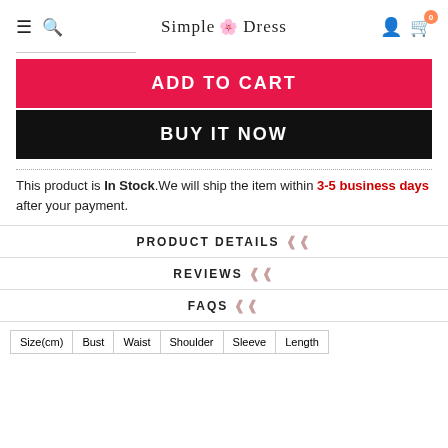Simple Dress
ADD TO CART
BUY IT NOW
This product is In Stock.We will ship the item within 3-5 business days after your payment.
PRODUCT DETAILS
REVIEWS
FAQS
| Size(cm) | Bust | Waist | Shoulder | Sleeve | Length |
| --- | --- | --- | --- | --- | --- |